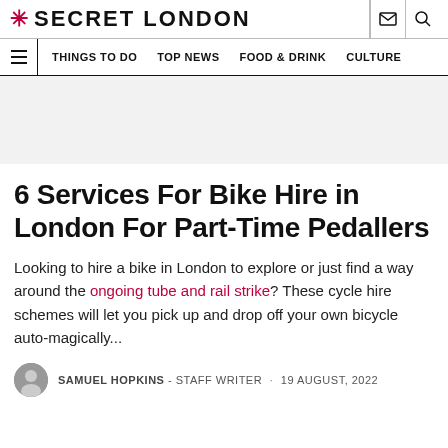* SECRET LONDON
THINGS TO DO  TOP NEWS  FOOD & DRINK  CULTURE
[Figure (other): Advertisement placeholder banner, light grey background]
6 Services For Bike Hire in London For Part-Time Pedallers
Looking to hire a bike in London to explore or just find a way around the ongoing tube and rail strike? These cycle hire schemes will let you pick up and drop off your own bicycle auto-magically...
SAMUEL HOPKINS - STAFF WRITER · 19 AUGUST, 2022